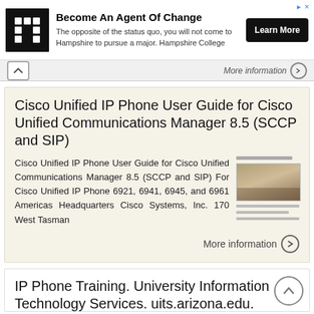[Figure (screenshot): Advertisement banner for Hampshire College with logo, text, and Learn More button]
More information
Cisco Unified IP Phone User Guide for Cisco Unified Communications Manager 8.5 (SCCP and SIP)
Cisco Unified IP Phone User Guide for Cisco Unified Communications Manager 8.5 (SCCP and SIP) For Cisco Unified IP Phone 6921, 6941, 6945, and 6961 Americas Headquarters Cisco Systems, Inc. 170 West Tasman
More information
IP Phone Training. University Information Technology Services. uits.arizona.edu.